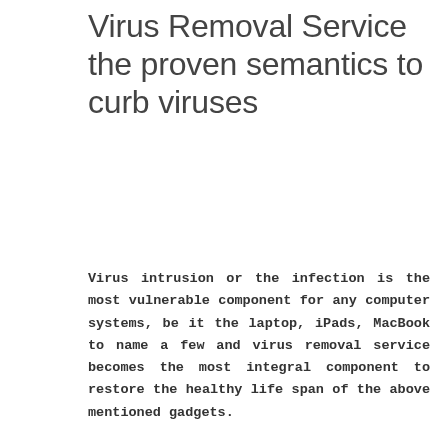Virus Removal Service the proven semantics to curb viruses
Virus intrusion or the infection is the most vulnerable component for any computer systems, be it the laptop, iPads, MacBook to name a few and virus removal service becomes the most integral component to restore the healthy life span of the above mentioned gadgets.
[Figure (other): Broken image placeholder with alt text 'virus removal service']